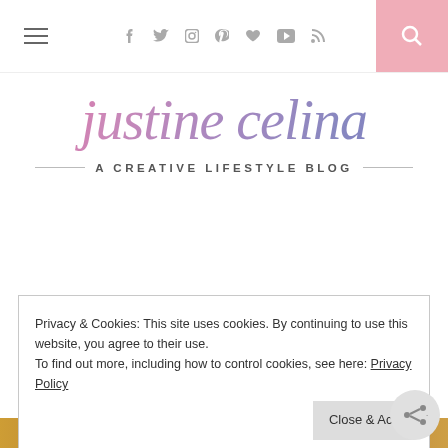justine celina — A CREATIVE LIFESTYLE BLOG
[Figure (logo): Justine Celina blog logo — cursive script 'justine celina' in pink-to-purple gradient, with tagline 'A CREATIVE LIFESTYLE BLOG' below in small caps]
Privacy & Cookies: This site uses cookies. By continuing to use this website, you agree to their use.
To find out more, including how to control cookies, see here: Privacy Policy
Close & Accept